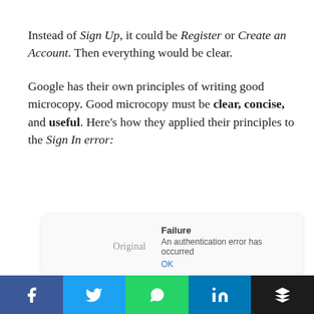Instead of Sign Up, it could be Register or Create an Account. Then everything would be clear.
Google has their own principles of writing good microcopy. Good microcopy must be clear, concise, and useful. Here's how they applied their principles to the Sign In error:
[Figure (screenshot): A comparison card showing Original vs Clear versions of an error message. Original: 'Failure — An authentication error has occurred / OK'. Clear: 'Sign-in error — You entered an incorrect password'.]
[Figure (other): Social media share bar with Facebook, Twitter, WhatsApp, LinkedIn, and Buffer buttons.]